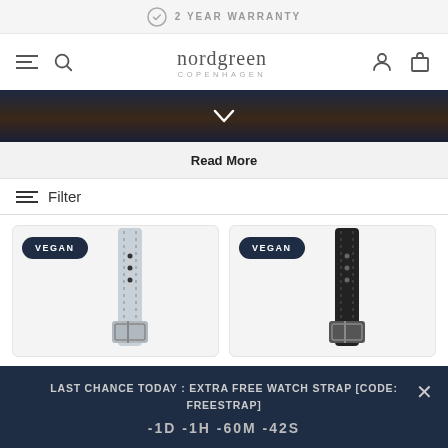2 YEAR WARRANTY
[Figure (logo): Nordgreen Copenhagen logo with hamburger menu, search icon, user icon, and bag icon]
[Figure (photo): Dark hero image strip with navy and brown gradient tones with a downward chevron]
Read More
Filter
[Figure (photo): Light grey vegan watch strap with silver buckle and VEGAN badge]
[Figure (photo): Black vegan watch strap with silver buckle and VEGAN badge]
LAST CHANCE TODAY : EXTRA FREE WATCH STRAP [CODE: FREESTRAP]
-1D -1H -60M -42S